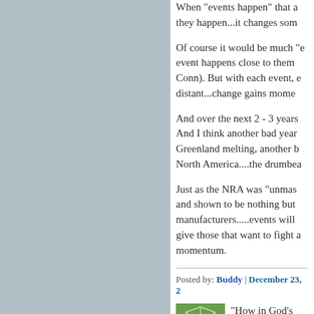When "events happen" that a they happen...it changes som
Of course it would be much " event happens close to them Conn). But with each event, e distant...change gains mome
And over the next 2 - 3 years And I think another bad year Greenland melting, another b North America....the drumbea
Just as the NRA was "unmas and shown to be nothing but manufacturers.....events will give those that want to fight a momentum.
Posted by: Buddy | December 23, 2
[Figure (illustration): Green square avatar with white geometric polygon/voronoi pattern]
"How in God's green earth.... NOT think that the Arctic melti OF MELTING over the comm